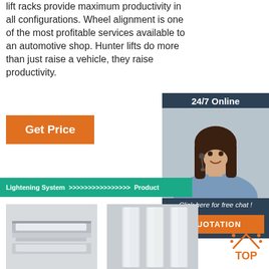lift racks provide maximum productivity in all configurations. Wheel alignment is one of the most profitable services available to an automotive shop. Hunter lifts do more than just raise a vehicle, they raise productivity.
Get Price
[Figure (illustration): 24/7 Online chat panel with woman wearing headset. Includes 'Click here for free chat!' text and orange QUOTATION button.]
Lightening System >>>>>>>>>>>>>>>> Product
[Figure (photo): LED Ceiling lights product photo showing white LED panel/tube light fixture]
LED Ceiling lights
8 units×4pieces = 32pieces×16W.
[Figure (photo): LED Side lights product photo showing vertical LED light panels]
LED Side lights
10units × 2 pieces = 20pieces×16W